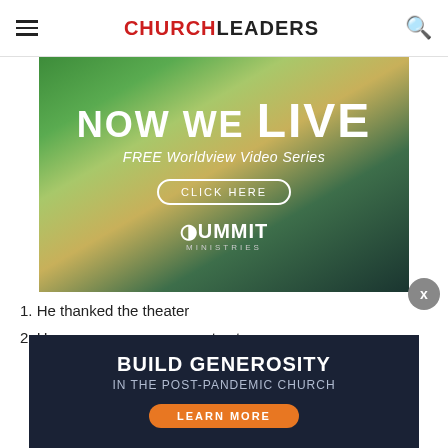CHURCHLEADERS
[Figure (illustration): Advertisement banner for Summit Ministries 'NOW WE LIVE - FREE Worldview Video Series' with a CLICK HERE button, green and earth-toned gradient background]
1. He thanked the theater
2. He p... actors...
[Figure (illustration): Overlay advertisement for 'BUILD GENEROSITY IN THE POST-PANDEMIC CHURCH' with a LEARN MORE button on a dark blue background with bokeh church imagery]